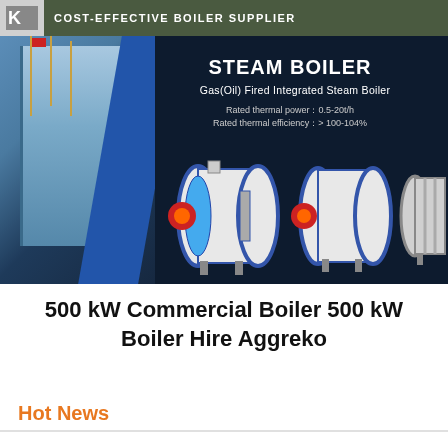COST-EFFECTIVE BOILER SUPPLIER
[Figure (photo): Steam boiler advertisement banner showing Gas(Oil) Fired Integrated Steam Boiler with building background on left and three boiler unit photos on dark blue background. Text: STEAM BOILER, Gas(Oil) Fired Integrated Steam Boiler, Rated thermal power: 0.5-20t/h, Rated thermal efficiency: > 100-104%]
500 kW Commercial Boiler 500 kW Boiler Hire Aggreko
Hot News